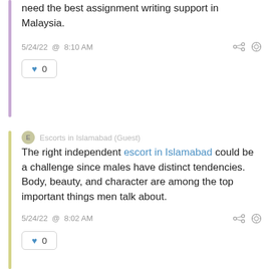need the best assignment writing support in Malaysia.
5/24/22 @ 8:10 AM
0
Escorts in Islamabad (Guest)
The right independent escort in Islamabad could be a challenge since males have distinct tendencies. Body, beauty, and character are among the top important things men talk about.
5/24/22 @ 8:02 AM
0